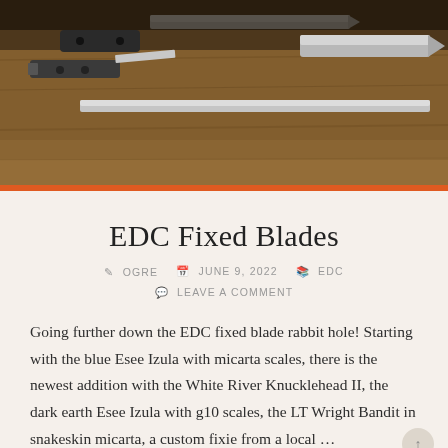[Figure (photo): Photo of multiple fixed blade knives laid out on a wooden surface, showing various blades and handles]
EDC Fixed Blades
✏ OGRE  🗓 JUNE 9, 2022  📚 EDC  💬 LEAVE A COMMENT
Going further down the EDC fixed blade rabbit hole! Starting with the blue Esee Izula with micarta scales, there is the newest addition with the White River Knucklehead II, the dark earth Esee Izula with g10 scales, the LT Wright Bandit in snakeskin micarta, a custom fixie from a local ...